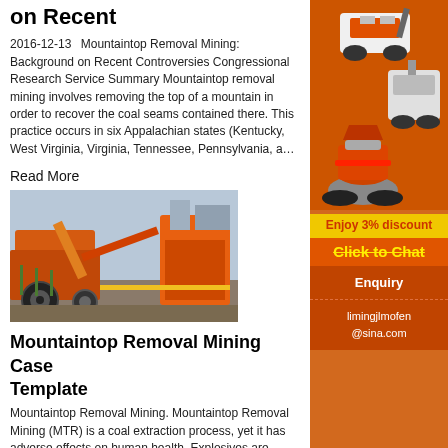on Recent
2016-12-13   Mountaintop Removal Mining: Background on Recent Controversies Congressional Research Service Summary Mountaintop removal mining involves removing the top of a mountain in order to recover the coal seams contained there. This practice occurs in six Appalachian states (Kentucky, West Virginia, Virginia, Tennessee, Pennsylvania, a…
Read More
[Figure (photo): Industrial mining equipment / crushers at an outdoor mining site, orange-colored machinery with large wheels and conveyor structures]
Mountaintop Removal Mining Case Template
Mountaintop Removal Mining. Mountaintop Removal Mining (MTR) is a coal extraction process, yet it has adverse effects on human health. Explosives are
[Figure (illustration): Sidebar advertisement showing orange background with industrial mining/crushing machines (cone crusher, jaw crusher), yellow 'Enjoy 3% discount' banner, yellow-on-orange 'Click to Chat' text with strikethrough, Enquiry section, and email limingjlmofen@sina.com]